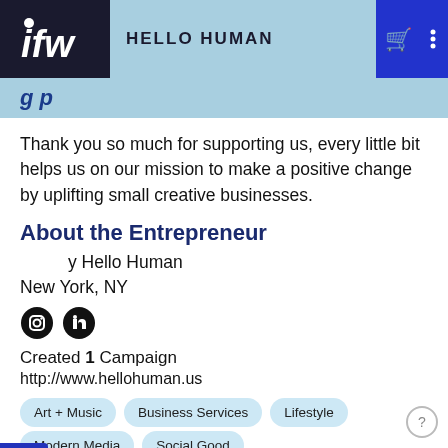HELLO HUMAN
Thank you so much for supporting us, every little bit helps us on our mission to make a positive change by uplifting small creative businesses.
About the Entrepreneur
by Hello Human
New York, NY
Created 1 Campaign
http://www.hellohuman.us
Art + Music
Business Services
Lifestyle
Modern Media
Social Good